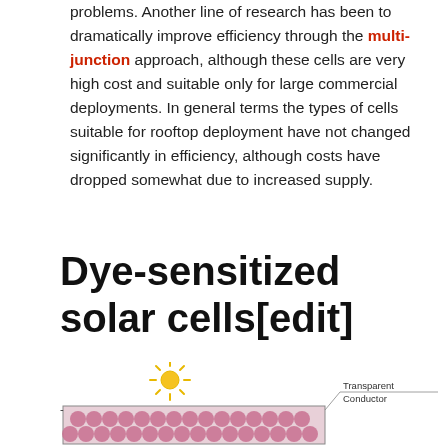problems. Another line of research has been to dramatically improve efficiency through the multi-junction approach, although these cells are very high cost and suitable only for large commercial deployments. In general terms the types of cells suitable for rooftop deployment have not changed significantly in efficiency, although costs have dropped somewhat due to increased supply.
Dye-sensitized solar cells[edit]
[Figure (engineering-diagram): Diagram showing a dye-sensitized solar cell with a sun icon above, pinkish-purple circular dye molecules on a substrate, and a label 'Transparent Conductor' on the right side.]